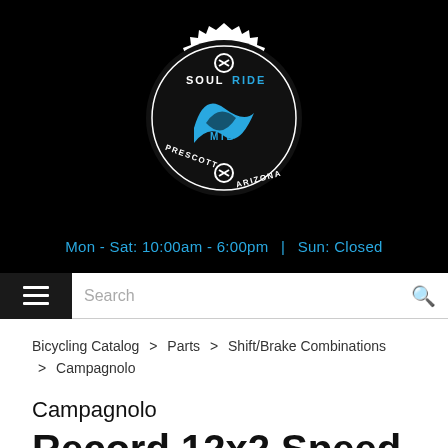[Figure (logo): Soul Ride MTB Prescott Arizona logo — white gear/sprocket outline with blue SR swoosh lettering on black background]
Mon - Sat: 10:00am - 6:00pm  |  Sun: Closed
Search
Bicycling Catalog > Parts > Shift/Brake Combinations > Campagnolo
Campagnolo Record 12x2 Speed Mechanical Shifter Set